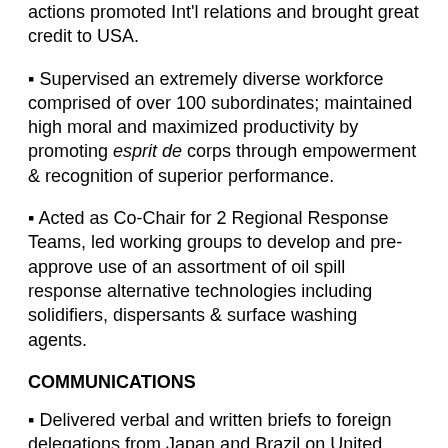actions promoted Int'l relations and brought great credit to USA.
Supervised an extremely diverse workforce comprised of over 100 subordinates; maintained high moral and maximized productivity by promoting esprit de corps through empowerment & recognition of superior performance.
Acted as Co-Chair for 2 Regional Response Teams, led working groups to develop and pre-approve use of an assortment of oil spill response alternative technologies including solidifiers, dispersants & surface washing agents.
COMMUNICATIONS
Delivered verbal and written briefs to foreign delegations from Japan and Brazil on United States' National Contingency Plan ensuring that these ally nations are now better prepared to respond to environmental disasters.
Personally selected by Coast Guard HQ's to address Int'l Disaster Preparedness Conference in